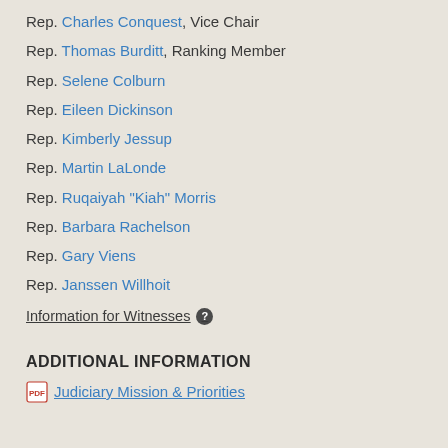Rep. Charles Conquest, Vice Chair
Rep. Thomas Burditt, Ranking Member
Rep. Selene Colburn
Rep. Eileen Dickinson
Rep. Kimberly Jessup
Rep. Martin LaLonde
Rep. Ruqaiyah "Kiah" Morris
Rep. Barbara Rachelson
Rep. Gary Viens
Rep. Janssen Willhoit
Information for Witnesses
ADDITIONAL INFORMATION
Judiciary Mission & Priorities